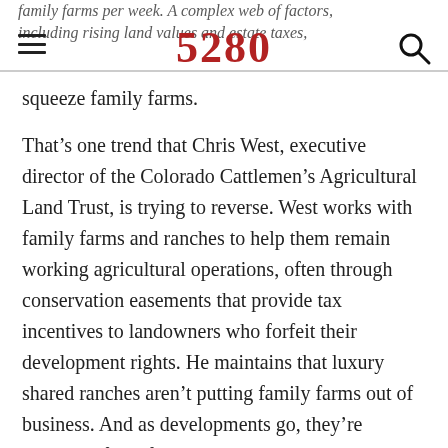family farms per week. A complex web of factors, including rising land values and estate taxes, 5280
squeeze family farms.
That’s one trend that Chris West, executive director of the Colorado Cattlemen’s Agricultural Land Trust, is trying to reverse. West works with family farms and ranches to help them remain working agricultural operations, often through conservation easements that provide tax incentives to landowners who forfeit their development rights. He maintains that luxury shared ranches aren’t putting family farms out of business. And as developments go, they’re relatively farm-friendly: